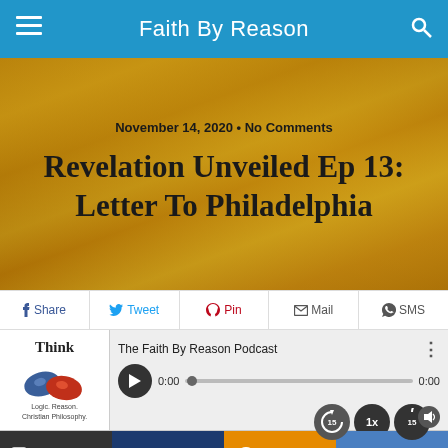Faith By Reason
November 14, 2020 • No Comments
Revelation Unveiled Ep 13: Letter To Philadelphia
[Figure (screenshot): Social share buttons: Share, Tweet, Pin, Mail, SMS]
[Figure (screenshot): Podcast player for The Faith By Reason Podcast with play button, progress bar showing 0:00, and playback controls (15s back, 1x speed, 15s forward, volume)]
[Figure (screenshot): Bottom action bar with Shownotes, Download, Subscribe, Share buttons]